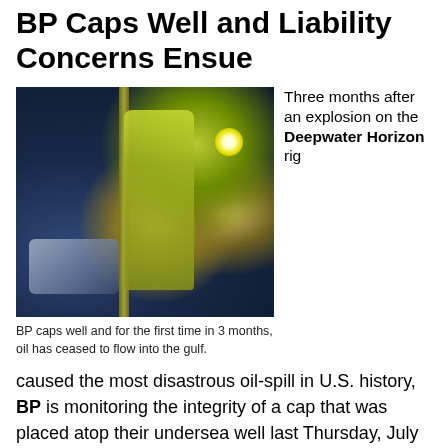BP Caps Well and Liability Concerns Ensue
[Figure (photo): Underwater photograph showing a diver or robotic equipment in yellow/green suit near a pipe or cable, with bright light visible, during BP Deepwater Horizon well capping operation]
BP caps well and for the first time in 3 months, oil has ceased to flow into the gulf.
Three months after an explosion on the Deepwater Horizon rig caused the most disastrous oil-spill in U.S. history, BP is monitoring the integrity of a cap that was placed atop their undersea well last Thursday, July 15th. The current success of the cap to stop the flow
caused the most disastrous oil-spill in U.S. history, BP is monitoring the integrity of a cap that was placed atop their undersea well last Thursday, July 15th. The current success of the cap to stop the flow